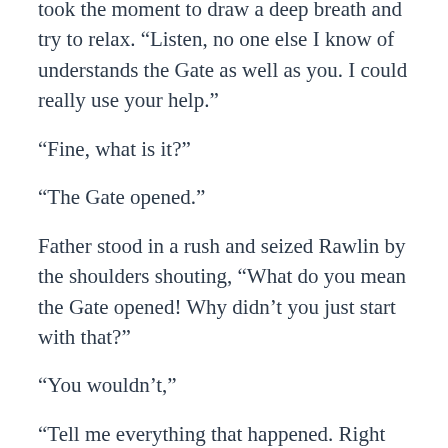took the moment to draw a deep breath and try to relax. “Listen, no one else I know of understands the Gate as well as you. I could really use your help.”
“Fine, what is it?”
“The Gate opened.”
Father stood in a rush and seized Rawlin by the shoulders shouting, “What do you mean the Gate opened! Why didn’t you just start with that?”
“You wouldn’t,”
“Tell me everything that happened. Right now.”
“Well, Father, I’d actually like you to meet someone. She knows more than I do.”
Father nodded eagerly, “Well where is she then?”